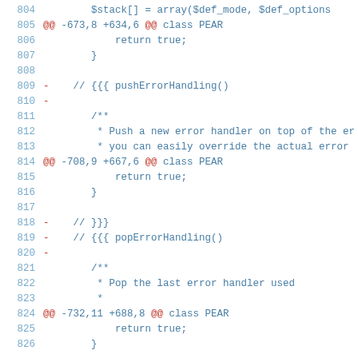[Figure (screenshot): Code diff view showing lines 804-826 of a PHP file with line numbers and unified diff markers. Lines shown include array stack operations, class PEAR diff hunks, return statements, error handling comments (pushErrorHandling, popErrorHandling), and JSDoc-style comments about error handler stack operations.]